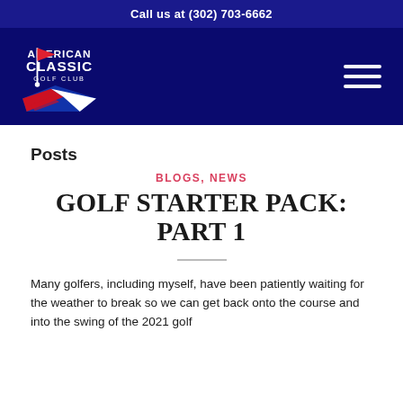Call us at (302) 703-6662
[Figure (logo): American Classic Golf Club logo with flag and golf course imagery on dark navy background with hamburger menu icon]
Posts
BLOGS, NEWS
GOLF STARTER PACK: PART 1
Many golfers, including myself, have been patiently waiting for the weather to break so we can get back onto the course and into the swing of the 2021 golf